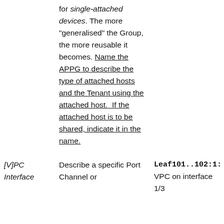|  | for single-attached devices. The more “generalised” the Group, the more reusable it becomes. Name the APPG to describe the type of attached hosts and the Tenant using the attached host.  If the attached host is to be shared, indicate it in the name. |  |
| [V]PC Interface | Describe a specific Port Channel or | Leaf101..102:1:
VPC on interface 1/3 |